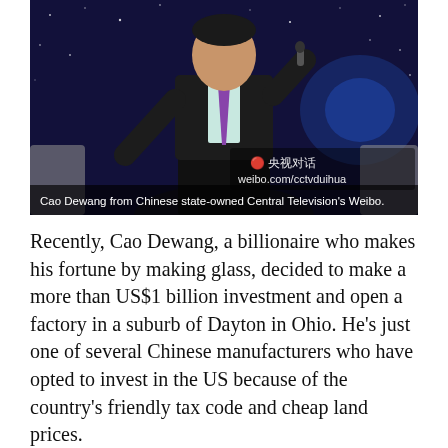[Figure (photo): A man in a dark suit with a purple tie speaking or gesturing on a stage with blue starry background lighting. Weibo watermark overlay reading '央视对话' and 'weibo.com/cctvduihua' visible in lower portion of image.]
Cao Dewang from Chinese state-owned Central Television's Weibo.
Recently, Cao Dewang, a billionaire who makes his fortune by making glass, decided to make a more than US$1 billion investment and open a factory in a suburb of Dayton in Ohio. He's just one of several Chinese manufacturers who have opted to invest in the US because of the country's friendly tax code and cheap land prices.
As the economy is slowing down in China, the move has been perceived as a warning signal, and his complaints over heavy manufacturing taxes have been circulating on